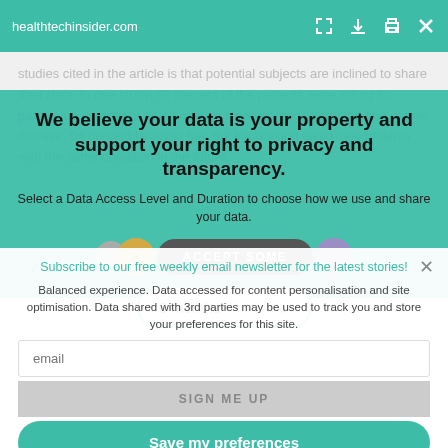healthtechinsider.com
studies cited in the article is that potential subjects are inclined to share their data. In one study, 92 percent of the patients were willing to participate in order to help advance research and understanding of their disease. 94 percent believed that the information could help patients with the same condition in the future.
We believe your data is your property and support your right to privacy and transparency.
Select a Data Access Level and Duration to choose how we use and share your data.
ACCEPT SOME
6 months
Subscribe to our free weekly email newsletter for the latest stories!
Balanced experience. Data accessed for content personalisation and site optimisation. Data shared with 3rd parties may be used to track you and store your preferences for this site.
email
SIGN ME UP
Save my preferences